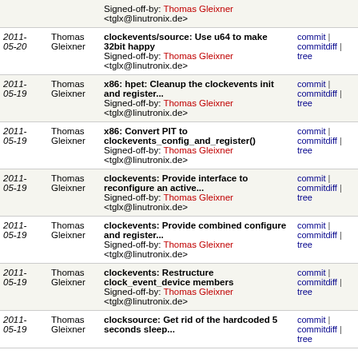| Date | Author | Message | Links |
| --- | --- | --- | --- |
|  |  | Signed-off-by: Thomas Gleixner <tglx@linutronix.de> |  |
| 2011-05-20 | Thomas Gleixner | clockevents/source: Use u64 to make 32bit happy
Signed-off-by: Thomas Gleixner <tglx@linutronix.de> | commit | commitdiff | tree |
| 2011-05-19 | Thomas Gleixner | x86: hpet: Cleanup the clockevents init and register...
Signed-off-by: Thomas Gleixner <tglx@linutronix.de> | commit | commitdiff | tree |
| 2011-05-19 | Thomas Gleixner | x86: Convert PIT to clockevents_config_and_register()
Signed-off-by: Thomas Gleixner <tglx@linutronix.de> | commit | commitdiff | tree |
| 2011-05-19 | Thomas Gleixner | clockevents: Provide interface to reconfigure an active...
Signed-off-by: Thomas Gleixner <tglx@linutronix.de> | commit | commitdiff | tree |
| 2011-05-19 | Thomas Gleixner | clockevents: Provide combined configure and register...
Signed-off-by: Thomas Gleixner <tglx@linutronix.de> | commit | commitdiff | tree |
| 2011-05-19 | Thomas Gleixner | clockevents: Restructure clock_event_device members
Signed-off-by: Thomas Gleixner <tglx@linutronix.de> | commit | commitdiff | tree |
| 2011-05-19 | Thomas Gleixner | clocksource: Get rid of the hardcoded 5 seconds sleep... | commit | commitdiff | tree |